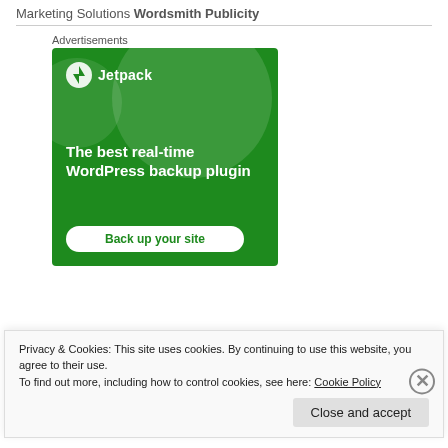Marketing Solutions Wordsmith Publicity
Advertisements
[Figure (illustration): Jetpack advertisement banner on green background. Shows Jetpack logo, text 'The best real-time WordPress backup plugin', and a 'Back up your site' button.]
Privacy & Cookies: This site uses cookies. By continuing to use this website, you agree to their use.
To find out more, including how to control cookies, see here: Cookie Policy
Close and accept